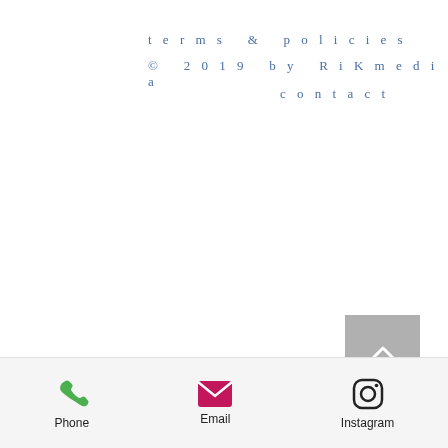terms & policies
© 2019 by RiKmedia
contact
[Figure (other): Back to top button: grey square with white upward chevron arrow]
[Figure (other): Bottom navigation bar with Phone (green phone icon), Email (pink envelope icon), and Instagram (Instagram camera icon) items]